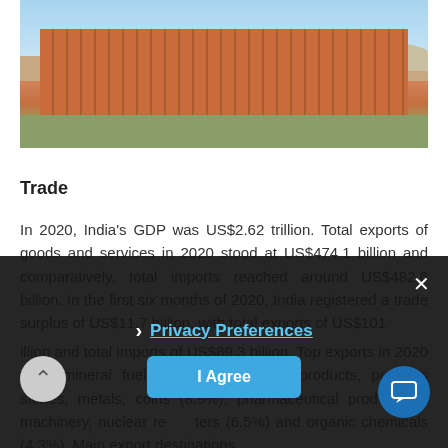[Figure (photo): Photograph of Hawa Mahal (Palace of Winds) in Jaipur, India — ornate pink sandstone facade with multiple tiers of windows, blue sky with clouds, hills in background, trees and street scene below]
Trade
In 2020, India's GDP was US$2.62 trillion. Total exports of goods and services in 2020 stood at US$474.1 billion and comparatively, total imports reached around US$482.6 billion. In the first six months of 2020, India registered a trade surplus of US$11.7 billion, with total exports of US$101
illion and total imports of US$89.3 billion. Top exports in 2020 were mineral fuels, oils, d distillation products, precious stones, metals, coins (8.9%), pharmaceutical products (6 machinery, nuclear re ters (6.5%) and organic chemicals (4.3%). Main export destinations
[Figure (screenshot): Privacy Preferences modal overlay with dark background, showing a 'Privacy Preferences' link with chevron arrow, an 'I Agree' blue button, and an X close button]